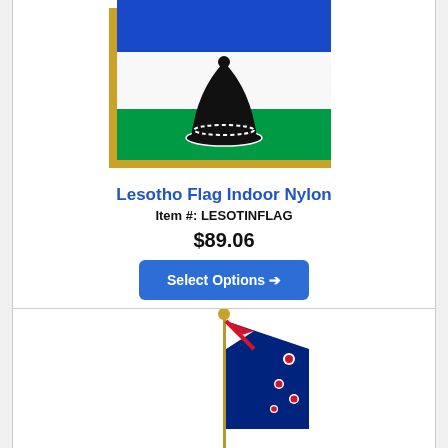[Figure (photo): Lesotho indoor nylon flag with gold fringe, showing blue, white, and green horizontal stripes with black Basotho hat emblem in center, mounted on pole]
Lesotho Flag Indoor Nylon
Item #: LESOTINFLAG
$89.06
Select Options →
[Figure (photo): New Zealand flag on a pole with golden finial, showing blue background with Union Jack and Southern Cross stars, partially visible at bottom of page]